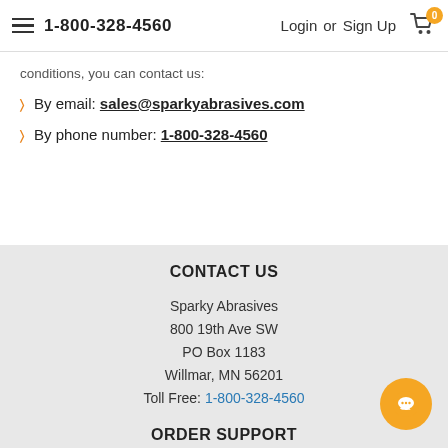1-800-328-4560   Login or Sign Up   [cart: 0]
conditions, you can contact us:
By email: sales@sparkyabrasives.com
By phone number: 1-800-328-4560
CONTACT US
Sparky Abrasives
800 19th Ave SW
PO Box 1183
Willmar, MN 56201
Toll Free: 1-800-328-4560
ORDER SUPPORT
Wishlist